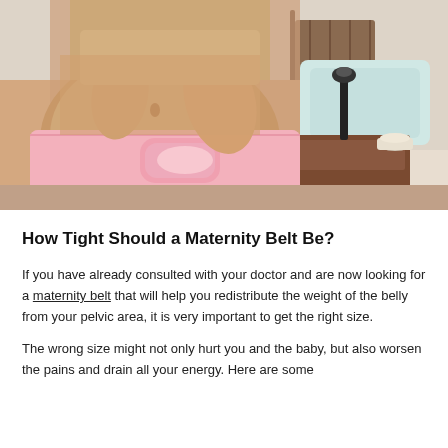[Figure (photo): A pregnant woman wearing a pink maternity support belt around her belly, standing in a bedroom with a nightstand, lamp, and pillow visible in the background. The photo is cropped to show the torso area.]
How Tight Should a Maternity Belt Be?
If you have already consulted with your doctor and are now looking for a maternity belt that will help you redistribute the weight of the belly from your pelvic area, it is very important to get the right size.
The wrong size might not only hurt you and the baby, but also worsen the pains and drain all your energy. Here are some